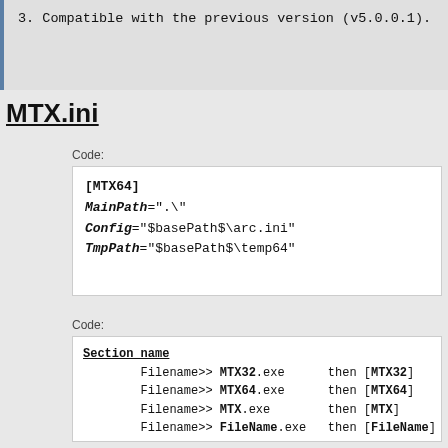3. Compatible with the previous version (v5.0.0.1).
MTX.ini
Code:
[MTX64]
MainPath=".\"
Config="$basePath$\arc.ini"
TmpPath="$basePath$\temp64"
Code:
Section name
    Filename>> MTX32.exe    then [MTX32]
    Filename>> MTX64.exe    then [MTX64]
    Filename>> MTX.exe      then [MTX]
    Filename>> FileName.exe then [FileName]

MainPath
    MainPath="$exePath$"  or
    MainPath=".\..\.\"  or
    MainPath="C:\test"

Config
    Config="$basePath$\arc.ini"  or